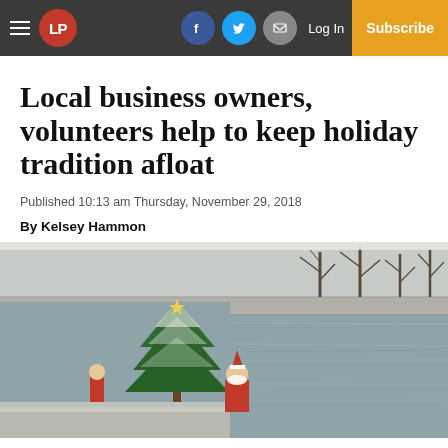LP | Log In | Subscribe
Local business owners, volunteers help to keep holiday tradition afloat
Published 10:13 am Thursday, November 29, 2018
By Kelsey Hammon
[Figure (photo): A snowy winter scene near a river with a decorated Christmas tree and a Santa Claus figure on the bank.]